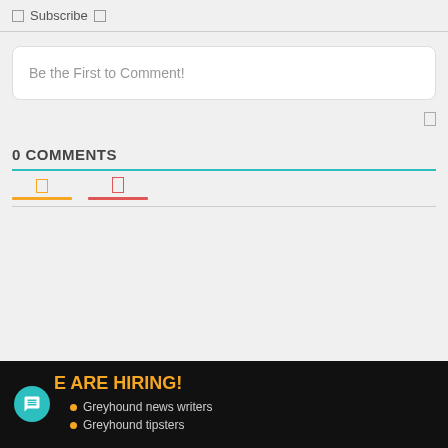Subscribe
Be the First to Comment!
0 COMMENTS
[Figure (other): Tab icons with orange and red underlines below comments heading]
[Figure (infographic): Dark hiring banner with teal chat icon, orange title 'E ARE HIRING!', and bullet list items: Greyhound news writers, Greyhound tipsters]